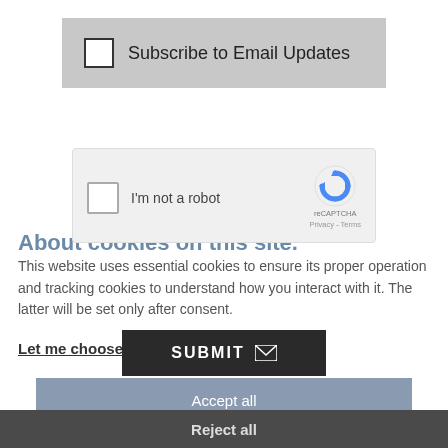Subscribe to Email Updates
[Figure (screenshot): reCAPTCHA widget with checkbox 'I'm not a robot' and reCAPTCHA logo]
About cookies on this site.
This website uses essential cookies to ensure its proper operation and tracking cookies to understand how you interact with it. The latter will be set only after consent.
Let me choose
SUBMIT
Accept all
Reject all